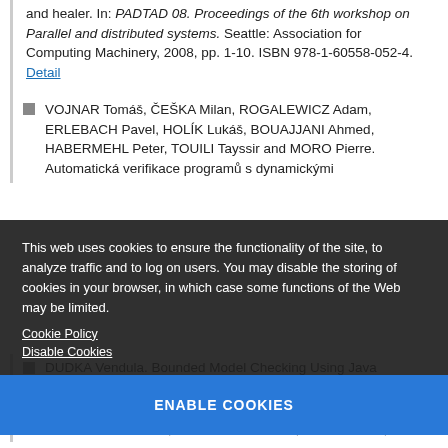and healer. In: PADTAD 08. Proceedings of the 6th workshop on Parallel and distributed systems. Seattle: Association for Computing Machinery, 2008, pp. 1-10. ISBN 978-1-60558-052-4. Detail
VOJNAR Tomáš, ČEŠKA Milan, ROGALEWICZ Adam, ERLEBACH Pavel, HOLÍK Lukáš, BOUAJJANI Ahmed, HABERMEHL Peter, TOUILI Tayssir and MORO Pierre. Automatická verifikace programů s dynamickými
This web uses cookies to ensure the functionality of the site, to analyze traffic and to log on users. You may disable the storing of cookies in your browser, in which case some functions of the Web may be limited.
Cookie Policy
Disable Cookies
ENABLE COOKIES
DUDKA Vendula. Bounded Model Checking Using Java Pathfinder. In: Proceedings of the 14th Conference STUDENT EEICT 2008. Volume 2. Brno: Brno University
ABDULLA Parosh A., BOUAJJANI Ahmed, HOLÍK Lukáš,